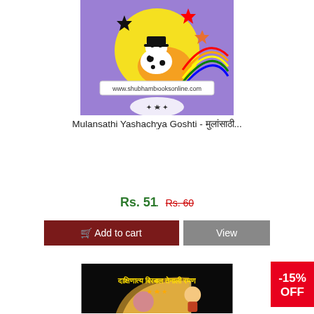[Figure (illustration): Book cover for Mulansathi Yashachya Goshti showing a cartoon dalmatian dog on a purple background with a yellow moon, stars, and rainbow, with text www.shubhambooksonline.com]
Mulansathi Yashachya Goshti - मुलांसाठी...
Rs. 51 Rs. 60
Add to cart  View
[Figure (illustration): Book cover with dark background showing Marathi text for a book about Birbal and Tenali Raman]
-15% OFF